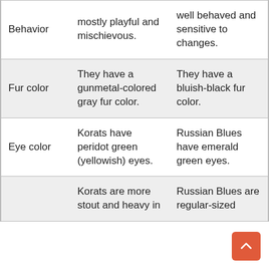| Behavior | mostly playful and mischievous. | well behaved and sensitive to changes. |
| Fur color | They have a gunmetal-colored gray fur color. | They have a bluish-black fur color. |
| Eye color | Korats have peridot green (yellowish) eyes. | Russian Blues have emerald green eyes. |
|  | Korats are more stout and heavy in | Russian Blues are regular-sized |